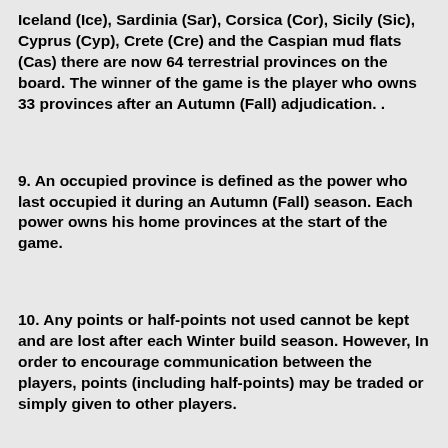Iceland (Ice), Sardinia (Sar), Corsica (Cor), Sicily (Sic), Cyprus (Cyp), Crete (Cre) and the Caspian mud flats (Cas) there are now 64 terrestrial provinces on the board. The winner of the game is the player who owns 33 provinces after an Autumn (Fall) adjudication. .
9. An occupied province is defined as the power who last occupied it during an Autumn (Fall) season. Each power owns his home provinces at the start of the game.
10. Any points or half-points not used cannot be kept and are lost after each Winter build season. However, In order to encourage communication between the players, points (including half-points) may be traded or simply given to other players.